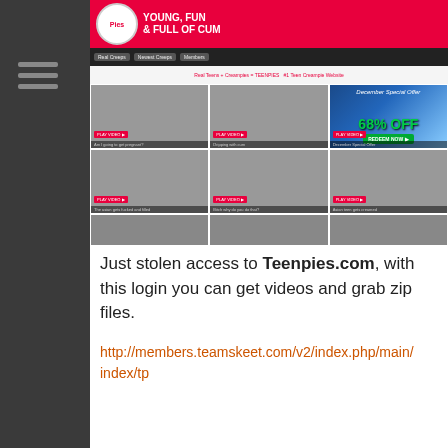[Figure (screenshot): Screenshot of Teenpies.com adult website showing a pink/red header with logo, navigation bar, and a grid of thumbnail images with a 68% OFF promotional banner]
Just stolen access to Teenpies.com, with this login you can get videos and grab zip files.
http://members.teamskeet.com/v2/index.php/main/index/tp